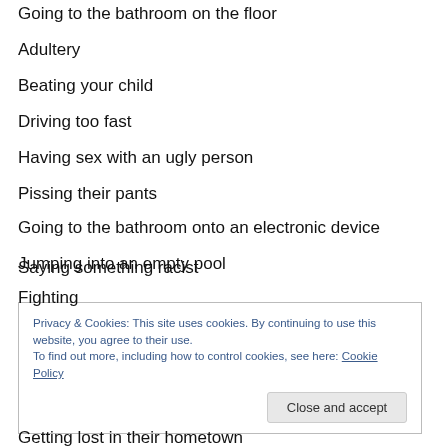Going to the bathroom on the floor
Adultery
Beating your child
Driving too fast
Having sex with an ugly person
Pissing their pants
Going to the bathroom onto an electronic device
Jumping into an empty pool
Fighting
Saying something racist
Privacy & Cookies: This site uses cookies. By continuing to use this website, you agree to their use.
To find out more, including how to control cookies, see here: Cookie Policy
Getting lost in their hometown